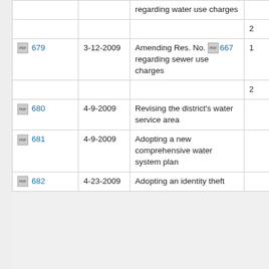| Resolution No. | Date | Description | Page |
| --- | --- | --- | --- |
|  |  | regarding water use charges |  |
|  |  |  | 2 |
| 679 | 3-12-2009 | Amending Res. No. 667 regarding sewer use charges | 1 |
|  |  |  | 2 |
| 680 | 4-9-2009 | Revising the district's water service area |  |
| 681 | 4-9-2009 | Adopting a new comprehensive water system plan |  |
| 682 | 4-23-2009 | Adopting an identity theft |  |